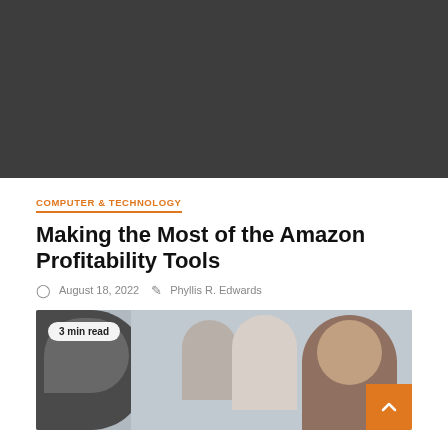[Figure (photo): Dark gray hero banner image at top of page]
COMPUTER & TECHNOLOGY
Making the Most of the Amazon Profitability Tools
August 18, 2022   Phyllis R. Edwards
[Figure (photo): Photo of people in a medical or technology setting, man in foreground looking up and smiling, with equipment visible. Badge reads '3 min read']